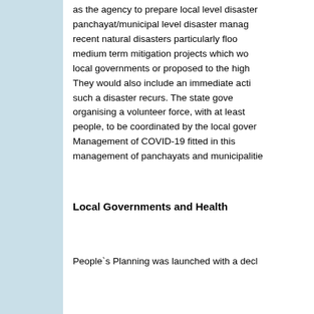as the agency to prepare local level disaster panchayat/municipal level disaster manag recent natural disasters particularly floo medium term mitigation projects which wo local governments or proposed to the high They would also include an immediate acti such a disaster recurs. The state gove organising a volunteer force, with at least people, to be coordinated by the local gover Management of COVID-19 fitted in this management of panchayats and municipalitie
Local Governments and Health
People`s Planning was launched with a decl